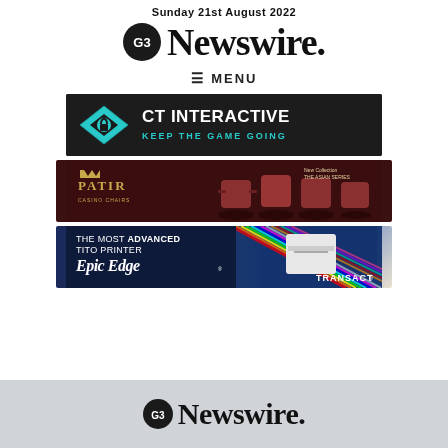Sunday 21st August 2022
G3 Newswire.
≡ MENU
[Figure (other): CT Interactive advertisement banner – dark background with teal diamond logo and text 'CT INTERACTIVE – KEEP THE GAME GOING']
[Figure (other): PATIR casino chairs advertisement – dark red background with casino chairs and text 'PATIR – New Collection THE ASIAN SERIES']
[Figure (other): TransAct Epic Edge TITO Printer advertisement – blue gradient background with text 'THE MOST ADVANCED TITO PRINTER Epic Edge TRANSACT']
G3 Newswire.